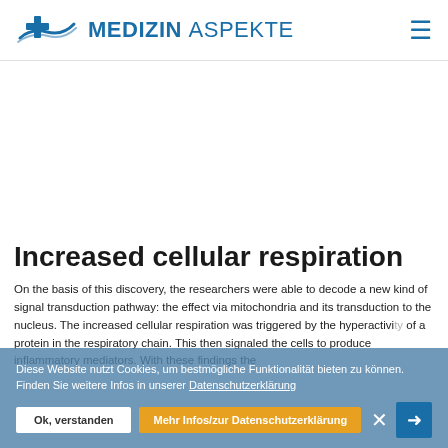[Figure (logo): Medizin Aspekte website header with logo (medical cross with wave symbol) and site name 'MEDIZIN ASPEKTE' plus hamburger menu icon]
[Figure (other): Advertisement/blank area below header]
Increased cellular respiration
On the basis of this discovery, the researchers were able to decode a new kind of signal transduction pathway: the effect via mitochondria and its transduction to the nucleus. The increased cellular respiration was triggered by the hyperactivity of a protein in the respiratory chain. This then signaled the cells to produce inflammatory mediators. With these findings the
Diese Website nutzt Cookies, um bestmögliche Funktionalität bieten zu können. Finden Sie weitere Infos in unserer Datenschutzerklärung
Ok, verstanden
Mehr Infos/zur Datenschutzerklärung